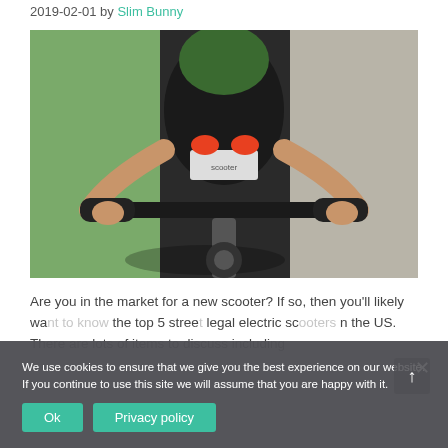2019-02-01 by Slim Bunny
[Figure (photo): Top-down view of a person holding the handlebars of a scooter, wearing orange shoes, standing on a concrete/grass surface]
Are you in the market for a new scooter? If so, then you'll likely want to know the top 5 street legal electric scooters on the US. There are lots of items to discuss including
We use cookies to ensure that we give you the best experience on our website. If you continue to use this site we will assume that you are happy with it.